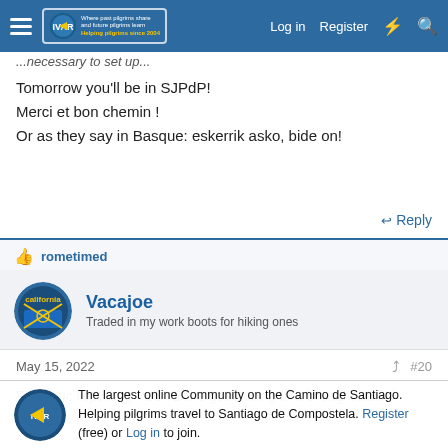The Camino Forum - Log in | Register
...necessary to set up...
Tomorrow you'll be in SJPdP!
Merci et bon chemin !
Or as they say in Basque: eskerrik asko, bide on!
Reply
rometimed
Vacajoe
Traded in my work boots for hiking ones
May 15, 2022  #20
Fantastic reporting - LOVE the goat swing!!!! It brought back l...
The largest online Community on the Camino de Santiago. Helping pilgrims travel to Santiago de Compostela. Register (free) or Log in to join.